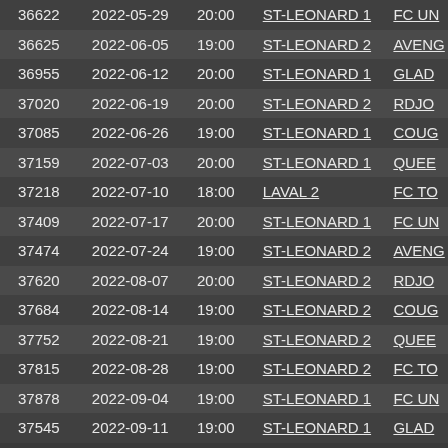| ID | Date | Time | Location | Team |
| --- | --- | --- | --- | --- |
| 36622 | 2022-05-29 | 20:00 | ST-LEONARD 1 | FC UN... |
| 36625 | 2022-06-05 | 19:00 | ST-LEONARD 2 | AVENG... |
| 36955 | 2022-06-12 | 20:00 | ST-LEONARD 1 | GLAD... |
| 37020 | 2022-06-19 | 20:00 | ST-LEONARD 2 | RDJO... |
| 37085 | 2022-06-26 | 19:00 | ST-LEONARD 1 | COUG... |
| 37159 | 2022-07-03 | 20:00 | ST-LEONARD 1 | QUEE... |
| 37218 | 2022-07-10 | 18:00 | LAVAL 2 | FC TO... |
| 37409 | 2022-07-17 | 20:00 | ST-LEONARD 1 | FC UN... |
| 37474 | 2022-07-24 | 19:00 | ST-LEONARD 2 | AVENG... |
| 37620 | 2022-08-07 | 20:00 | ST-LEONARD 2 | RDJO... |
| 37684 | 2022-08-14 | 19:00 | ST-LEONARD 2 | COUG... |
| 37752 | 2022-08-21 | 19:00 | ST-LEONARD 2 | QUEE... |
| 37815 | 2022-08-28 | 19:00 | ST-LEONARD 2 | FC TO... |
| 37878 | 2022-09-04 | 19:00 | ST-LEONARD 1 | FC UN... |
| 37545 | 2022-09-11 | 19:00 | ST-LEONARD 1 | GLAD... |